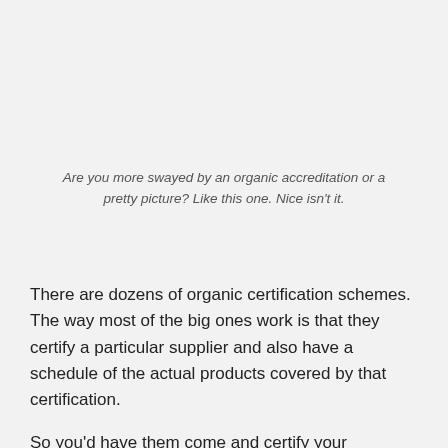Are you more swayed by an organic accreditation or a pretty picture? Like this one. Nice isn't it.
There are dozens of organic certification schemes. The way most of the big ones work is that they certify a particular supplier and also have a schedule of the actual products covered by that certification.
So you'd have them come and certify your company and typically a certificate saying so. There would also be a list of all the things that you supply that the certificate covers.